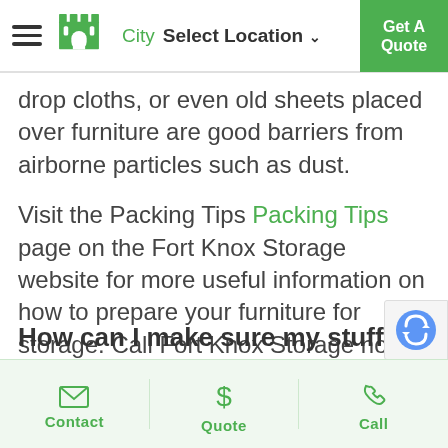City Select Location | Get A Quote
drop cloths, or even old sheets placed over furniture are good barriers from airborne particles such as dust.
Visit the Packing Tips Packing Tips page on the Fort Knox Storage website for more useful information on how to prepare your furniture for storage. Call Fort Knox Storage now to speak to your local Storage expert near Elimbah.
How can I make sure my stuff is
Contact | Quote | Call